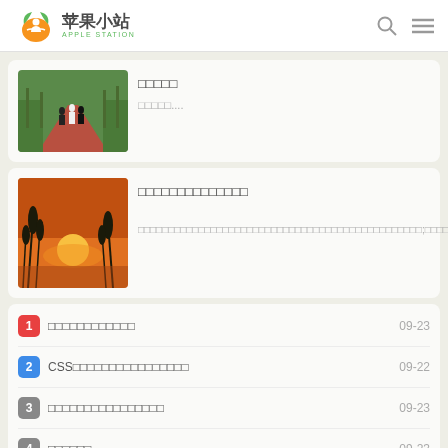苹果小站 APPLE STATION
[Figure (photo): People walking on a red path in a park, viewed from behind]
□□□□□
□□□□□....
[Figure (photo): Sunset silhouette of reeds/grass against orange sky]
□□□□□□□□□□□□□□
□□□□□□□□□□□□□□□□□□□□□□□□□□□□□□□□□□□□□□□□□□□□□□□□;□□□□□□□□□□□□□□□□□□□□□□□□□□□□□□□□□□□□....
1 □□□□□□□□□□□□ 09-23
2 CSS□□□□□□□□□□□□□□□□ 09-22
3 □□□□□□□□□□□□□□□□ 09-23
4 □□□□□□ 09-23